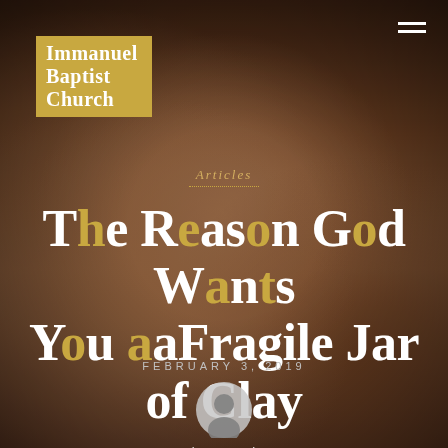Immanuel Baptist Church
Articles
The Reason God Wants You a Fragile Jar of Clay
FEBRUARY 3, 2019
[Figure (illustration): User avatar circle icon, grey silhouette]
immanuel